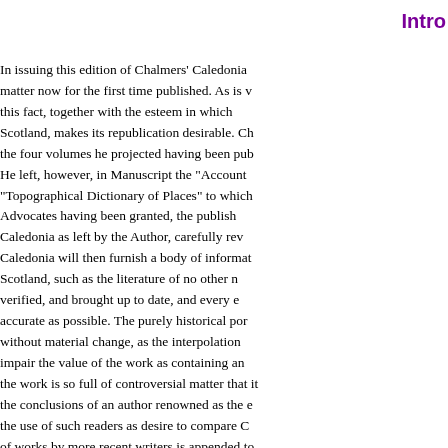Intro
In issuing this edition of Chalmers' Caledonia matter now for the first time published. As is w this fact, together with the esteem in which Scotland, makes its republication desirable. Ch the four volumes he projected having been pub He left, however, in Manuscript the "Account "Topographical Dictionary of Places" to which Advocates having been granted, the publish Caledonia as left by the Author, carefully rev Caledonia will then furnish a body of informat Scotland, such as the literature of no other n verified, and brought up to date, and every e accurate as possible. The purely historical por without material change, as the interpolation impair the value of the work as containing an the work is so full of controversial matter that it the conclusions of an author renowned as the the use of such readers as desire to compare C of works by more recent writers is appended to end of Volume II. of the present edition, a fair n which writers on the history and national a alterations which have been made in the histo and punctuation. The spelling of place-names h with the Author's etymological deductions, and the more important authorities, imperfectly cited at the end of this notice; and a few notes passages. In other respects the text is that of C